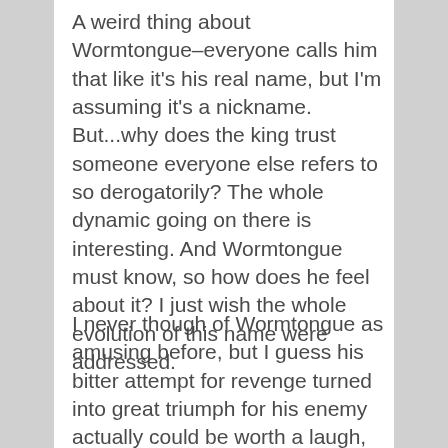A weird thing about Wormtongue–everyone calls him that like it's his real name, but I'm assuming it's a nickname. But...why does the king trust someone everyone else refers to so derogatorily? The whole dynamic going on there is interesting. And Wormtongue must know, so how does he feel about it? I just wish the whole evolution of this name were addressed.
I never though of Wormtongue as amusing before, but I guess his bitter attempt for revenge turned into great triumph for his enemy actually could be worth a laugh, especially if you were one of the company and dreading a final